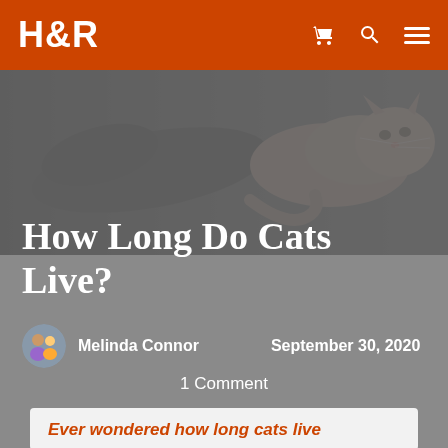H&R
[Figure (photo): A cat seen from above and side, walking on a surface. Dark background, brown and white tabby cat visible on right side.]
How Long Do Cats Live?
Melinda Connor   September 30, 2020
1 Comment
Ever wondered how long cats live